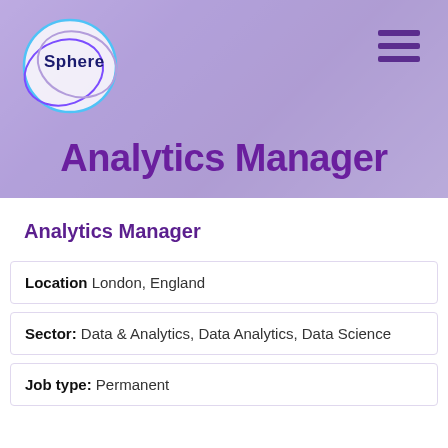[Figure (photo): Banner image of a smiling man in a tech office environment with a purple/lavender color overlay. Sphere company logo with decorative circles in top left. Hamburger menu icon in top right.]
Analytics Manager
Analytics Manager
Location London, England
Sector: Data & Analytics, Data Analytics, Data Science
Job type: Permanent